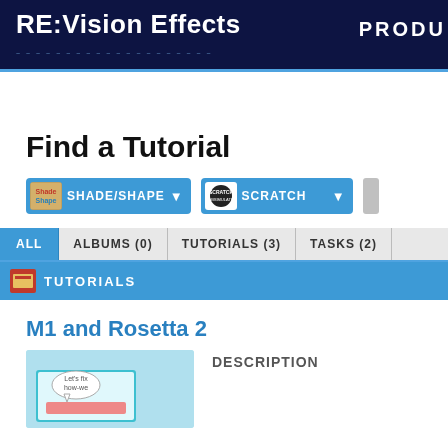RE:Vision Effects PRODU
Find a Tutorial
[Figure (screenshot): Filter dropdown showing SHADE/SHAPE with icon]
[Figure (screenshot): Filter dropdown showing SCRATCH with icon]
ALL  ALBUMS (0)  TUTORIALS (3)  TASKS (2)
TUTORIALS
M1 and Rosetta 2
[Figure (screenshot): Tutorial thumbnail image with cartoon speech bubble]
DESCRIPTION